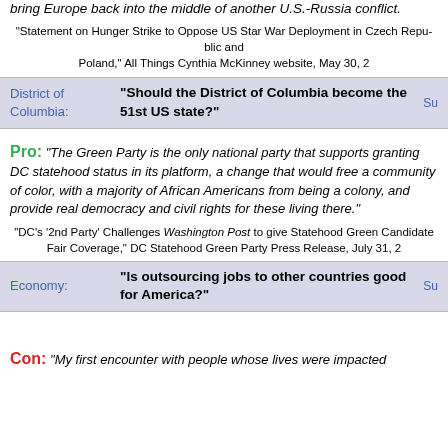bring Europe back into the middle of another U.S.-Russia conflict.
"Statement on Hunger Strike to Oppose US Star War Deployment in Czech Republic and Poland," All Things Cynthia McKinney website, May 30, 2
| District of Columbia: | "Should the District of Columbia become the 51st US state?" | Su... |
| --- | --- | --- |
Pro: "The Green Party is the only national party that supports granting DC statehood status in its platform, a change that would free a community of color, with a majority of African Americans from being a colony, and provide real democracy and civil rights for those living there."
"DC's '2nd Party' Challenges Washington Post to give Statehood Green Candidate Fair Coverage," DC Statehood Green Party Press Release, July 31, 2
| Economy: | "Is outsourcing jobs to other countries good for America?" | Su... |
| --- | --- | --- |
Con: "My first encounter with people whose lives were impacted...